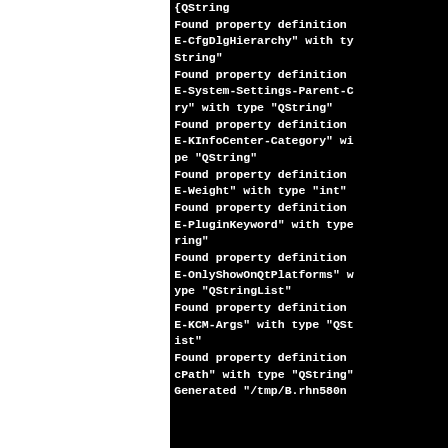[Figure (screenshot): Terminal/console output showing debug log lines about 'Found property definition' for various KDE desktop properties including E-CfgDlgHierarchy, E-System-Settings-Parent-Category, E-KInfoCenter-Category, E-Weight, E-PluginKeyword, E-OnlyShowOnQtPlatforms, E-KCM-Args, and cPath, followed by a Generated line with a temp file path.]